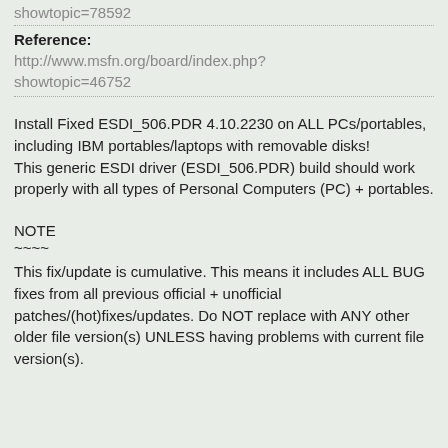showtopic=78592
Reference:
http://www.msfn.org/board/index.php?
showtopic=46752
Install Fixed ESDI_506.PDR 4.10.2230 on ALL PCs/portables, including IBM portables/laptops with removable disks!
This generic ESDI driver (ESDI_506.PDR) build should work properly with all types of Personal Computers (PC) + portables.
NOTE
~~~~
This fix/update is cumulative. This means it includes ALL BUG fixes from all previous official + unofficial patches/(hot)fixes/updates. Do NOT replace with ANY other older file version(s) UNLESS having problems with current file version(s).